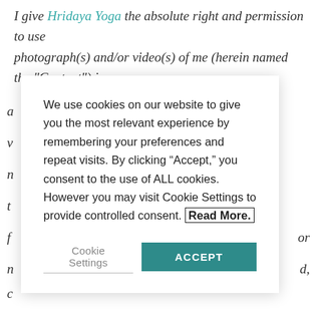I give Hridaya Yoga the absolute right and permission to use photograph(s) and/or video(s) of me (herein named the "Content") in
We use cookies on our website to give you the most relevant experience by remembering your preferences and repeat visits. By clicking “Accept,” you consent to the use of ALL cookies. However you may visit Cookie Settings to provide controlled consent. Read More.
Cookie Settings
ACCEPT